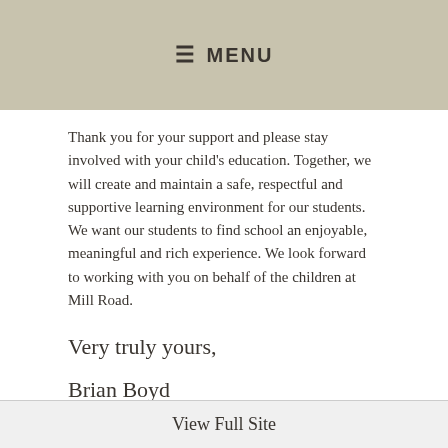≡ MENU
Thank you for your support and please stay involved with your child's education. Together, we will create and maintain a safe, respectful and supportive learning environment for our students. We want our students to find school an enjoyable, meaningful and rich experience. We look forward to working with you on behalf of the children at Mill Road.
Very truly yours,
Brian Boyd
Principal
View Full Site